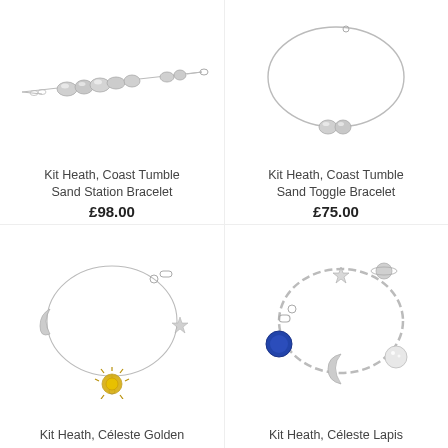[Figure (photo): Silver bracelet with multiple tumble beads on a chain - Kit Heath Coast Tumble Sand Station Bracelet]
Kit Heath, Coast Tumble Sand Station Bracelet
£98.00
[Figure (photo): Silver toggle bracelet with two beads - Kit Heath Coast Tumble Sand Toggle Bracelet]
Kit Heath, Coast Tumble Sand Toggle Bracelet
£75.00
[Figure (photo): Silver charm bracelet with moon, star, sun and circular charms - Kit Heath Céleste Golden charm bracelet]
Kit Heath, Céleste Golden
[Figure (photo): Silver chunky link charm bracelet with lapis blue disc, moon, star and crystal charms - Kit Heath Céleste Lapis bracelet]
Kit Heath, Céleste Lapis